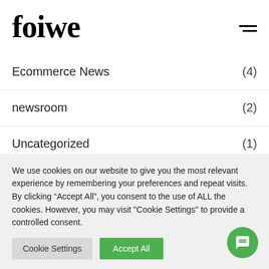foiwe
Ecommerce News (4)
newsroom (2)
Uncategorized (1)
We use cookies on our website to give you the most relevant experience by remembering your preferences and repeat visits. By clicking “Accept All”, you consent to the use of ALL the cookies. However, you may visit "Cookie Settings" to provide a controlled consent.